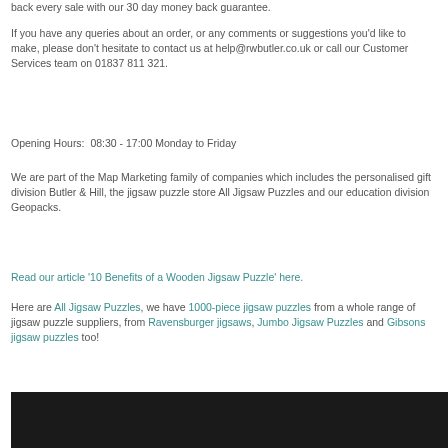back every sale with our 30 day money back guarantee.
If you have any queries about an order, or any comments or suggestions you'd like to make, please don't hesitate to contact us at help@rwbutler.co.uk or call our Customer Services team on 01837 811 321.
Opening Hours:  08:30 - 17:00 Monday to Friday
We are part of the Map Marketing family of companies which includes the personalised gift division Butler & Hill, the jigsaw puzzle store All Jigsaw Puzzles and our education division Geopacks.
Read our article '10 Benefits of a Wooden Jigsaw Puzzle' here.
Here are All Jigsaw Puzzles, we have 1000-piece jigsaw puzzles from a whole range of jigsaw puzzle suppliers, from Ravensburger jigsaws, Jumbo Jigsaw Puzzles and Gibsons jigsaw puzzles too!
[Figure (photo): Dark/black background image at the bottom of the page]